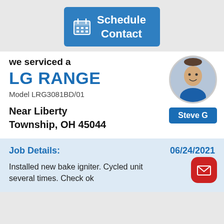[Figure (other): Blue 'Schedule Contact' button with calendar icon]
we serviced a
LG RANGE
Model LRG3081BD/01
[Figure (photo): Circular photo of technician Steve G]
Steve G
Near Liberty Township, OH 45044
Job Details:
06/24/2021
Installed new bake igniter. Cycled unit several times. Check ok